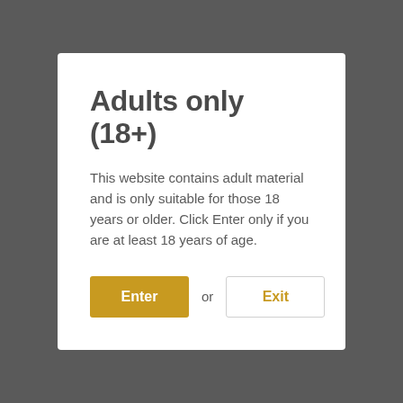Adults only (18+)
This website contains adult material and is only suitable for those 18 years or older. Click Enter only if you are at least 18 years of age.
Enter or Exit